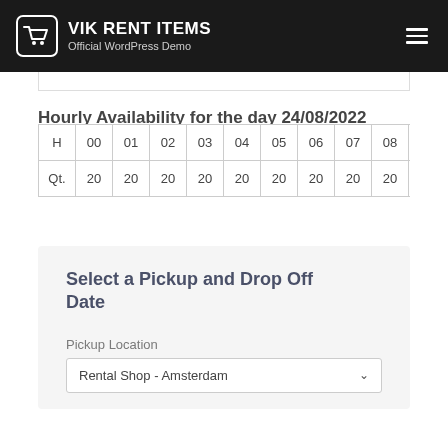VIK RENT ITEMS — Official WordPress Demo
Hourly Availability for the day 24/08/2022
| H | 00 | 01 | 02 | 03 | 04 | 05 | 06 | 07 | 08 | 09 | … |
| --- | --- | --- | --- | --- | --- | --- | --- | --- | --- | --- | --- |
| Qt. | 20 | 20 | 20 | 20 | 20 | 20 | 20 | 20 | 20 | 20 | … |
Select a Pickup and Drop Off Date
Pickup Location
Rental Shop - Amsterdam